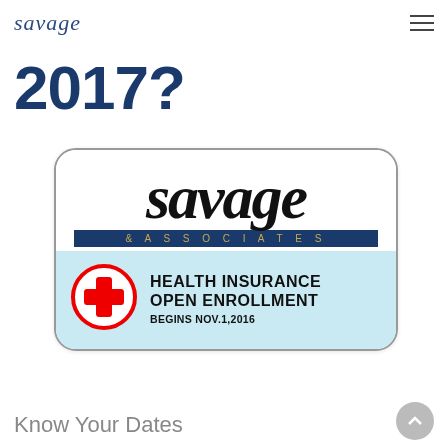savage
2017?
[Figure (logo): Savage & Associates Health Insurance Open Enrollment badge/logo. Top white section shows 'savage' in large italic serif text. Below is a navy blue bar with '& ASSOCIATES' in gold spaced capitals. Bottom light blue section shows a red cross circle on the left and bold text 'HEALTH INSURANCE OPEN ENROLLMENT BEGINS NOV.1,2016' on the right.]
Know Your Dates